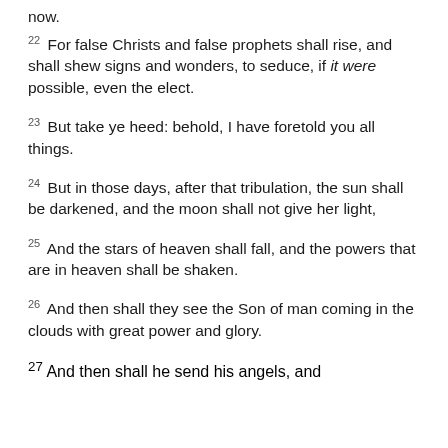now.
22 For false Christs and false prophets shall rise, and shall shew signs and wonders, to seduce, if it were possible, even the elect.
23 But take ye heed: behold, I have foretold you all things.
24 But in those days, after that tribulation, the sun shall be darkened, and the moon shall not give her light,
25 And the stars of heaven shall fall, and the powers that are in heaven shall be shaken.
26 And then shall they see the Son of man coming in the clouds with great power and glory.
27 And then shall he send his angels, and